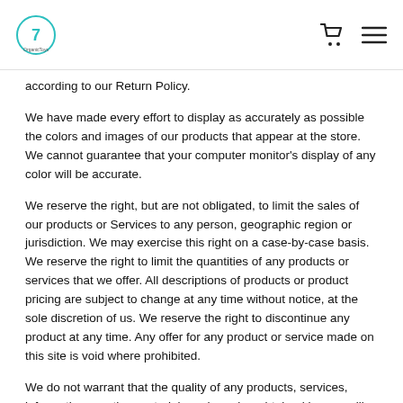Organic Toys — navigation header with logo, cart and menu icons
according to our Return Policy.
We have made every effort to display as accurately as possible the colors and images of our products that appear at the store. We cannot guarantee that your computer monitor's display of any color will be accurate.
We reserve the right, but are not obligated, to limit the sales of our products or Services to any person, geographic region or jurisdiction. We may exercise this right on a case-by-case basis. We reserve the right to limit the quantities of any products or services that we offer. All descriptions of products or product pricing are subject to change at any time without notice, at the sole discretion of us. We reserve the right to discontinue any product at any time. Any offer for any product or service made on this site is void where prohibited.
We do not warrant that the quality of any products, services, information, or other material purchased or obtained by you will